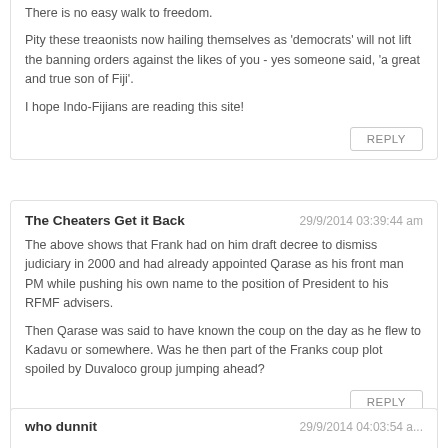There is no easy walk to freedom.
Pity these treaonists now hailing themselves as 'democrats' will not lift the banning orders against the likes of you - yes someone said, 'a great and true son of Fiji'.
I hope Indo-Fijians are reading this site!
REPLY
The Cheaters Get it Back
29/9/2014 03:39:44 am
The above shows that Frank had on him draft decree to dismiss judiciary in 2000 and had already appointed Qarase as his front man PM while pushing his own name to the position of President to his RFMF advisers.
Then Qarase was said to have known the coup on the day as he flew to Kadavu or somewhere. Was he then part of the Franks coup plot spoiled by Duvaloco group jumping ahead?
REPLY
who dunnit
29/9/2014 04:03:54 a...